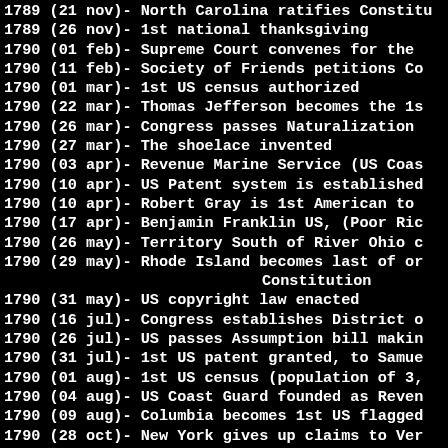1789 (21 nov)- North Carolina ratifies Constitu
1789 (26 nov)- 1st national thanksgiving
1790 (01 feb)- Supreme Court convenes for the
1790 (11 feb)- Society of Friends petitions Co
1790 (01 mar)- 1st US census authorized
1790 (22 mar)- Thomas Jefferson becomes the 1s
1790 (26 mar)- Congress passes Naturalization
1790 (27 mar)- The shoelace invented
1790 (03 apr)- Revenue Marine Service (US Coas
1790 (10 apr)- US Patent system is established
1790 (10 apr)- Robert Gray is 1st American to
1790 (17 apr)- Benjamin Franklin US, (Poor Ric
1790 (26 may)- Territory South of River Ohio c
1790 (29 may)- Rhode Island becomes last of or
                Constitution
1790 (31 may)- US copyright law enacted
1790 (16 jul)- Congress establishes District o
1790 (26 jul)- US passes Assumption bill makin
1790 (31 jul)- 1st US patent granted, to Samue
1790 (01 aug)- 1st US census (population of 3,
1790 (04 aug)- US Coast Guard founded as Reven
1790 (09 aug)- Columbia becomes 1st US flagged
1790 (28 oct)- New York gives up claims to Ver
1791 (25 feb)- 1st Bank of US chartered
1791 (03 mar)- 1st Internal Revenue Act (taxin
1791 (03 mar)- Congress establishes US Mint